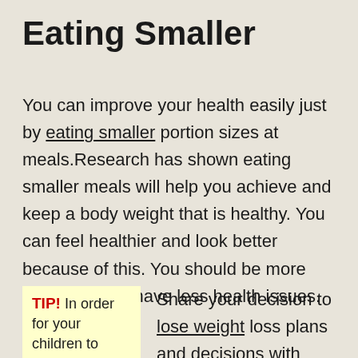Eating Smaller
You can improve your health easily just by eating smaller portion sizes at meals.Research has shown eating smaller meals will help you achieve and keep a body weight that is healthy. You can feel healthier and look better because of this. You should be more energetic and have less health issues.
TIP! In order for your children to
Share your decision to lose weight loss plans and decisions with everyone you